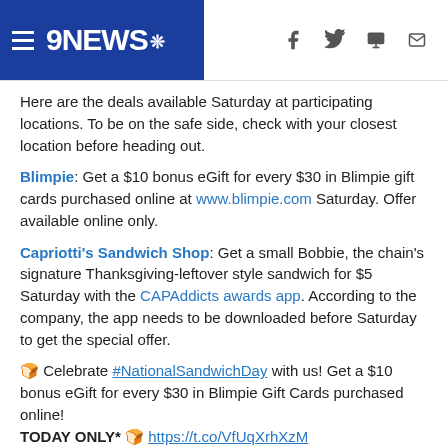9NEWS [hamburger menu] [facebook] [twitter] [mobile] [email]
Here are the deals available Saturday at participating locations. To be on the safe side, check with your closest location before heading out.
Blimpie: Get a $10 bonus eGift for every $30 in Blimpie gift cards purchased online at www.blimpie.com Saturday. Offer available online only.
Capriotti's Sandwich Shop: Get a small Bobbie, the chain's signature Thanksgiving-leftover style sandwich for $5 Saturday with the CAPAddicts awards app. According to the company, the app needs to be downloaded before Saturday to get the special offer.
🍞 Celebrate #NationalSandwichDay with us! Get a $10 bonus eGift for every $30 in Blimpie Gift Cards purchased online!
TODAY ONLY* 🍞 https://t.co/VfUqXrhXzM